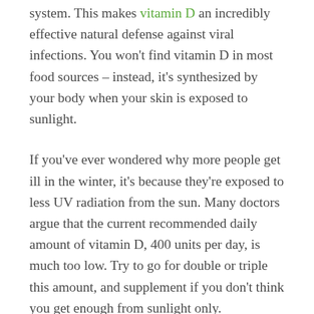system. This makes vitamin D an incredibly effective natural defense against viral infections. You won't find vitamin D in most food sources – instead, it's synthesized by your body when your skin is exposed to sunlight.
If you've ever wondered why more people get ill in the winter, it's because they're exposed to less UV radiation from the sun. Many doctors argue that the current recommended daily amount of vitamin D, 400 units per day, is much too low. Try to go for double or triple this amount, and supplement if you don't think you get enough from sunlight only.